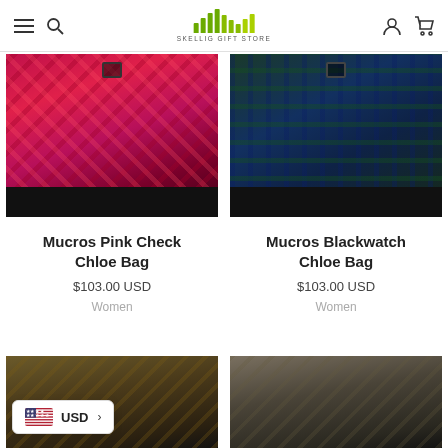Skellig Gift Store navigation header with hamburger menu, search, logo, account and cart icons
[Figure (photo): Mucros Pink Check Chloe Bag — pink tartan pattern crossbody bag held by person in black outfit]
[Figure (photo): Mucros Blackwatch Chloe Bag — dark green and navy tartan crossbody bag held by person in black outfit]
Mucros Pink Check Chloe Bag
$103.00 USD
Women
Mucros Blackwatch Chloe Bag
$103.00 USD
Women
[Figure (photo): Partial view of third product bag — bottom portion cut off]
[Figure (photo): Partial view of fourth product bag — bottom portion cut off]
USD >